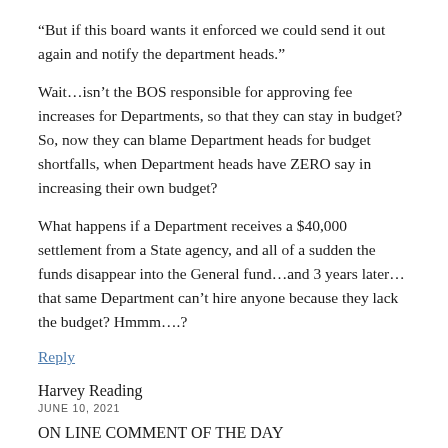“But if this board wants it enforced we could send it out again and notify the department heads.”
Wait…isn’t the BOS responsible for approving fee increases for Departments, so that they can stay in budget? So, now they can blame Department heads for budget shortfalls, when Department heads have ZERO say in increasing their own budget?
What happens if a Department receives a $40,000 settlement from a State agency, and all of a sudden the funds disappear into the General fund…and 3 years later…that same Department can’t hire anyone because they lack the budget? Hmmm….?
Reply
Harvey Reading
JUNE 10, 2021
ON LINE COMMENT OF THE DAY